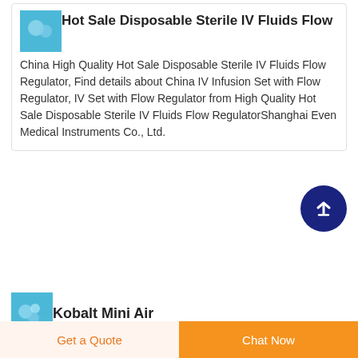[Figure (photo): Product thumbnail image for IV fluids flow regulator]
Hot Sale Disposable Sterile IV Fluids Flow
China High Quality Hot Sale Disposable Sterile IV Fluids Flow Regulator, Find details about China IV Infusion Set with Flow Regulator, IV Set with Flow Regulator from High Quality Hot Sale Disposable Sterile IV Fluids Flow RegulatorShanghai Even Medical Instruments Co., Ltd.
[Figure (illustration): Scroll to top button - dark navy circle with upward arrow]
[Figure (photo): Product thumbnail image for Kobalt Mini Air]
Kobalt Mini Air
Get a Quote
Chat Now